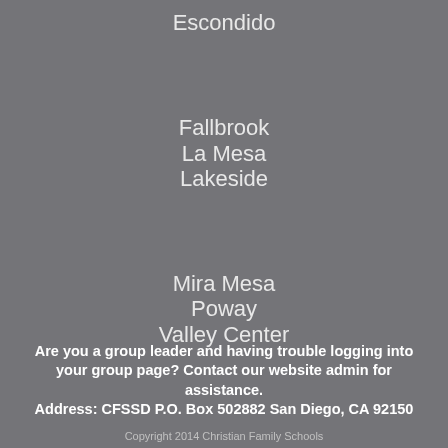Escondido
Fallbrook
La Mesa
Lakeside
Mira Mesa
Poway
Valley Center
Are you a group leader and having trouble logging into your group page?  Contact our website admin for assistance.
Address: CFSSD P.O. Box 502882 San Diego, CA 92150
Copyright 2014 Christian Family Schools